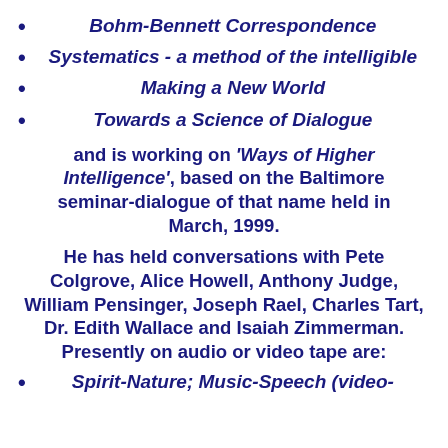Bohm-Bennett Correspondence
Systematics - a method of the intelligible
Making a New World
Towards a Science of Dialogue
and is working on 'Ways of Higher Intelligence', based on the Baltimore seminar-dialogue of that name held in March, 1999.
He has held conversations with Pete Colgrove, Alice Howell, Anthony Judge, William Pensinger, Joseph Rael, Charles Tart, Dr. Edith Wallace and Isaiah Zimmerman. Presently on audio or video tape are:
Spirit-Nature; Music-Speech (video-